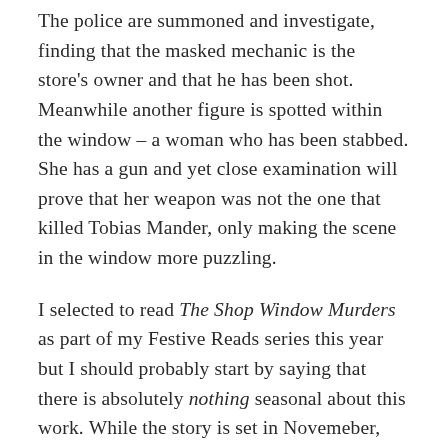The police are summoned and investigate, finding that the masked mechanic is the store's owner and that he has been shot. Meanwhile another figure is spotted within the window – a woman who has been stabbed. She has a gun and yet close examination will prove that her weapon was not the one that killed Tobias Mander, only making the scene in the window more puzzling.
I selected to read The Shop Window Murders as part of my Festive Reads series this year but I should probably start by saying that there is absolutely nothing seasonal about this work. While the story is set in Novemeber, there is no mention within the text of the window display being related to the holiday and given that these window displays are changed weekly there is nothing to suggest that this was a particularly significant event in the store's calendar. I will not hold that against the book itself but